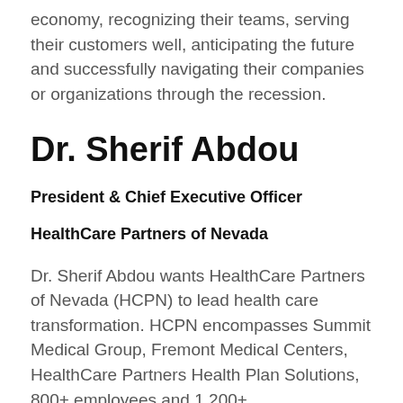economy, recognizing their teams, serving their customers well, anticipating the future and successfully navigating their companies or organizations through the recession.
Dr. Sherif Abdou
President & Chief Executive Officer
HealthCare Partners of Nevada
Dr. Sherif Abdou wants HealthCare Partners of Nevada (HCPN) to lead health care transformation. HCPN encompasses Summit Medical Group, Fremont Medical Centers, HealthCare Partners Health Plan Solutions, 800+ employees and 1,200+